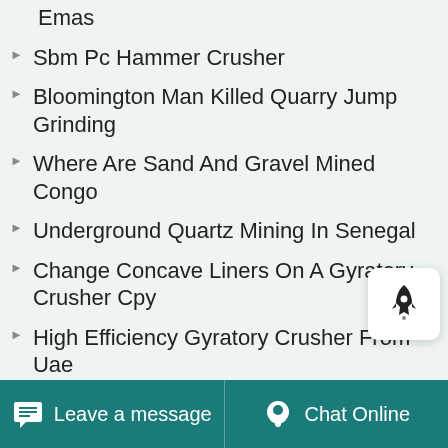Emas
Sbm Pc Hammer Crusher
Bloomington Man Killed Quarry Jump Grinding
Where Are Sand And Gravel Mined Congo
Underground Quartz Mining In Senegal
Change Concave Liners On A Gyratory Crusher Cpy
High Efficiency Gyratory Crusher From Uae
World Mining Equiment 1986 10 4 19
Types Of Coal Crushers Shanghai Mining Company
Philippine Gold Processing And Refining Corp
Leave a message   Chat Online